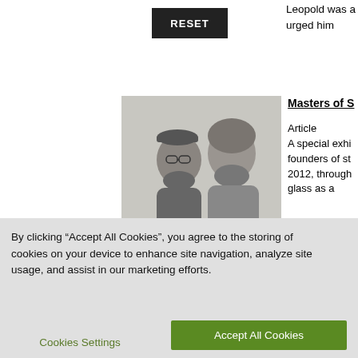[Figure (other): RESET button - dark/black rectangular button with white text]
Leopold was a urged him
[Figure (photo): Black and white photo of two bearded men, one wearing a beret and glasses]
Masters of S
Article
A special exhibi founders of st 2012, through glass as a
[Figure (photo): Black and white photo of a dark rounded bowl or vessel]
Master of Stu
Article
In 1979, the M American pub Museum pre
By clicking “Accept All Cookies”, you agree to the storing of cookies on your device to enhance site navigation, analyze site usage, and assist in our marketing efforts.
Cookies Settings
Accept All Cookies